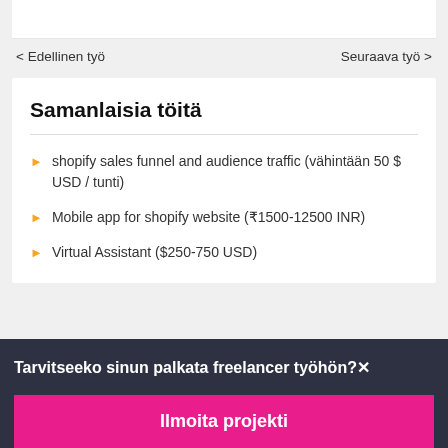< Edellinen työ
Seuraava työ >
Samanlaisia töitä
shopify sales funnel and audience traffic (vähintään 50 $ USD / tunti)
Mobile app for shopify website (₹1500-12500 INR)
Virtual Assistant ($250-750 USD)
Tarvitseeko sinun palkata freelancer työhön?
Ilmoita projekti